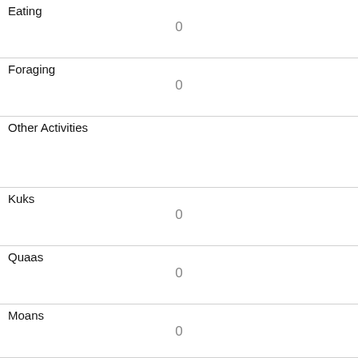| Field | Value |
| --- | --- |
| Eating | 0 |
| Foraging | 0 |
| Other Activities |  |
| Kuks | 0 |
| Quaas | 0 |
| Moans | 0 |
| Tail flags | 1 |
| Tail twitches | 0 |
| Approaches | 0 |
| Indifferent | 0 |
| Runs from |  |